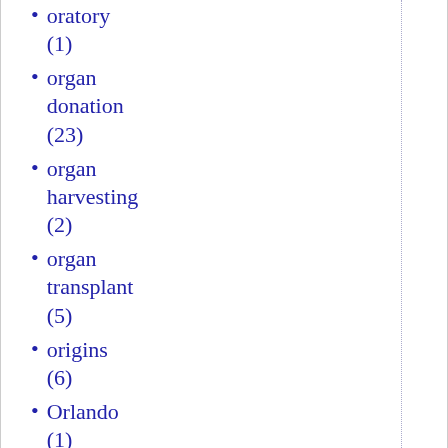oratory (1)
organ donation (23)
organ harvesting (2)
organ transplant (5)
origins (6)
Orlando (1)
orphans (1)
Orthodox (1)
orthodoxy (1)
Orwell (1)
Outsourcing (1)